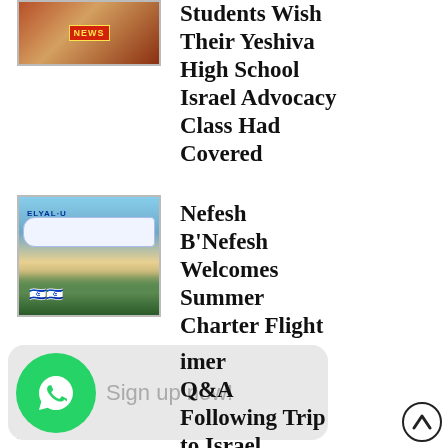[Figure (photo): News photo thumbnail with red NEWS badge, person raising fist]
Students Wish Their Yeshiva High School Israel Advocacy Class Had Covered
[Figure (photo): El Al airplane on tarmac with crowd waving Israeli flags below]
Nefesh B'Nefesh Welcomes Summer Charter Flight
[Figure (other): WhatsApp Sign up now! promotional banner overlay]
[Figure (photo): Photo thumbnail partially obscured by WhatsApp overlay]
imer Q&A Following Trip to Israel